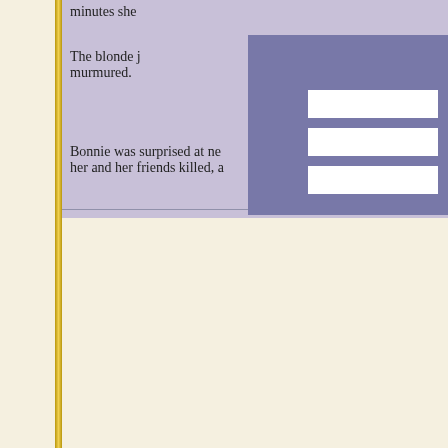minutes she
The blonde j murmured.
Bonnie was surprised at ne her and her friends killed, a
CYBERMASTER12
[Figure (illustration): Speech bubble avatar icon - light blue/grey rounded speech bubble outline on white background]
Rank: Petty Officer
Joined: Dec 30, 2012
Posts: 57
Re: Roleplay!
Anne Radcliffe on Jul 2, 20...
Shiro Takazaki looked mom see why my master has a ce impassive stare as he looke warily at the ready. "I also
As Takizaki charged, the Ar shadows with throwing star Four pigs ganged up on Fe All four pigs began hurling t each one. A Shinobi procee